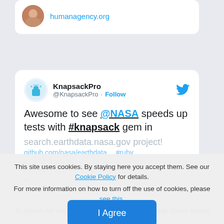[Figure (screenshot): Partial top card showing a user avatar and a blue link 'humanagency.org']
[Figure (screenshot): Tweet card from KnapsackPro (@KnapsackPro) with Twitter bird icon, text: 'Awesome to see @NASA speeds up tests with #knapsack gem in search.earthdata.nasa.gov project! github.com/nasa/earthdata… #ruby #parallelisation', timestamp '8:41 PM - Apr 6, 201..', 21 likes, Reply, Copy link to Tweet actions]
This site uses cookies. By staying here you accept them. See our Cookie Policy for details.
For more information on how to turn off the use of cookies, please see this.
To refuse the use of cookies, please leave the page (more details here).
I Agree